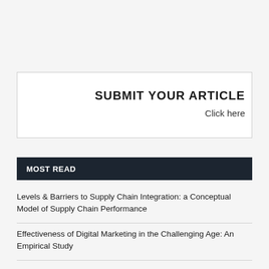[Figure (other): Submit Your Article box with white background and border, containing title 'SUBMIT YOUR ARTICLE' and 'Click here' text]
MOST READ
Levels & Barriers to Supply Chain Integration: a Conceptual Model of Supply Chain Performance
Effectiveness of Digital Marketing in the Challenging Age: An Empirical Study